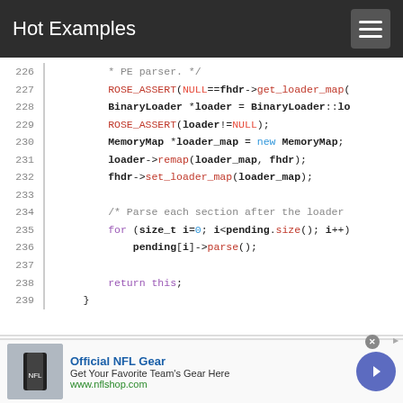Hot Examples
[Figure (screenshot): Code viewer showing lines 226-239 of C++ source code with syntax highlighting. Line 226: * PE parser. */ Line 227: ROSE_ASSERT(NULL==fhdr->get_loader_map( Line 228: BinaryLoader *loader = BinaryLoader::lo Line 229: ROSE_ASSERT(loader!=NULL); Line 230: MemoryMap *loader_map = new MemoryMap; Line 231: loader->remap(loader_map, fhdr); Line 232: fhdr->set_loader_map(loader_map); Line 233: (blank) Line 234: /* Parse each section after the loader Line 235: for (size_t i=0; i<pending.size(); i++) Line 236: pending[i]->parse(); Line 237: (blank) Line 238: return this; Line 239: }]
[Figure (screenshot): Advertisement banner: Official NFL Gear - Get Your Favorite Team's Gear Here - www.nflshop.com with NFL jersey image and arrow button]